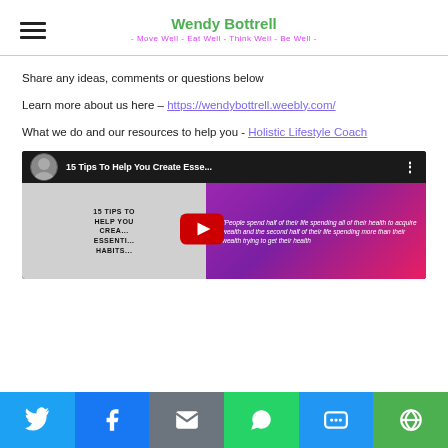Wendy Bottrell - Move Well - Eat Well - Think Well - Be Well -
Share any ideas, comments or questions below
Learn more about us here – https://wendybottrell.weebly.com/
What we do and our resources to help you - Holistic Lifestyle Coach
[Figure (screenshot): YouTube video thumbnail: '15 Tips To Help You Create Esse...' with channel avatar, play button overlay. Left side shows text '15 TIPS TO HELP YOU CREATE ESSENTIAL HABITS...' on grey background, right side shows purple/pink gradient with a quote about health and wealth.]